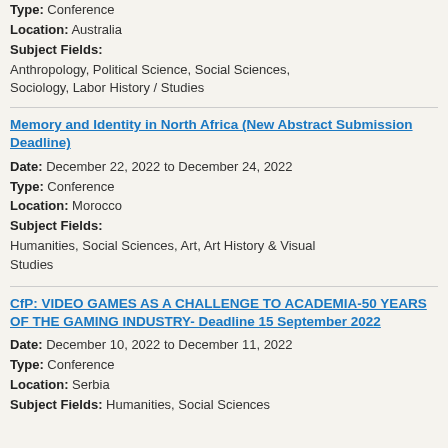Type: Conference
Location: Australia
Subject Fields:
Anthropology, Political Science, Social Sciences, Sociology, Labor History / Studies
Memory and Identity in North Africa (New Abstract Submission Deadline)
Date: December 22, 2022 to December 24, 2022
Type: Conference
Location: Morocco
Subject Fields:
Humanities, Social Sciences, Art, Art History & Visual Studies
CfP: VIDEO GAMES AS A CHALLENGE TO ACADEMIA-50 YEARS OF THE GAMING INDUSTRY- Deadline 15 September 2022
Date: December 10, 2022 to December 11, 2022
Type: Conference
Location: Serbia
Subject Fields: Humanities, Social Sciences